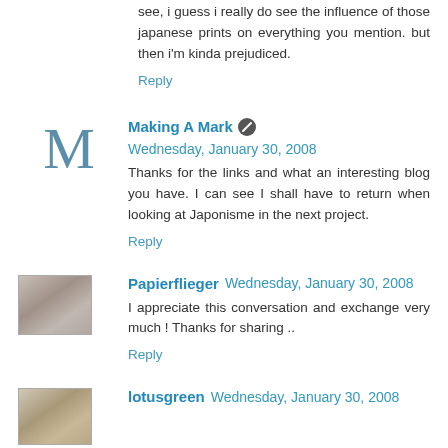see, i guess i really do see the influence of those japanese prints on everything you mention. but then i'm kinda prejudiced.
Reply
Making A Mark  Wednesday, January 30, 2008
Thanks for the links and what an interesting blog you have. I can see I shall have to return when looking at Japonisme in the next project.
Reply
Papierflieger  Wednesday, January 30, 2008
I appreciate this conversation and exchange very much ! Thanks for sharing ..
Reply
lotusgreen  Wednesday, January 30, 2008